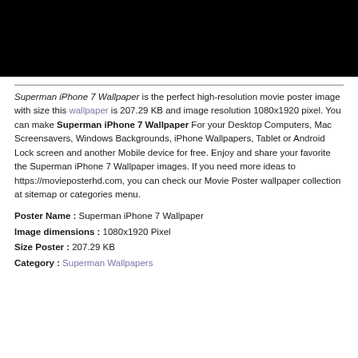[Figure (photo): Black rectangle representing a movie wallpaper image placeholder]
Superman iPhone 7 Wallpaper is the perfect high-resolution movie poster image with size this wallpaper is 207.29 KB and image resolution 1080x1920 pixel. You can make Superman iPhone 7 Wallpaper For your Desktop Computers, Mac Screensavers, Windows Backgrounds, iPhone Wallpapers, Tablet or Android Lock screen and another Mobile device for free. Enjoy and share your favorite the Superman iPhone 7 Wallpaper images. If you need more ideas to https://movieposterhd.com, you can check our Movie Poster wallpaper collection at sitemap or categories menu.
Poster Name : Superman iPhone 7 Wallpaper
Image dimensions : 1080x1920 Pixel
Size Poster : 207.29 KB
Category : Superman Wallpapers